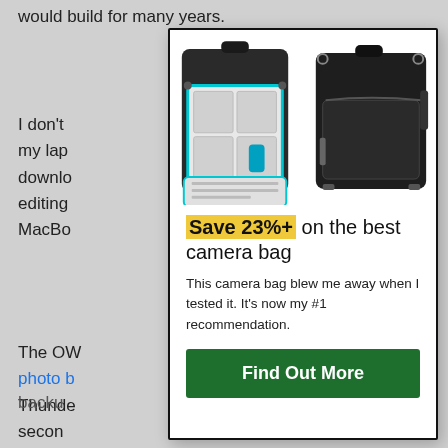would build for many years.
I don't
my lap
downlo
editing
MacBo
The OW
photo b
Thunde
secon
clone t
321 b
backu
[Figure (photo): Two black camera backpacks shown: one open displaying interior dividers with cyan trim, and one closed showing exterior]
Save 23%+ on the best camera bag
This camera bag blew me away when I tested it. It's now my #1 recommendation.
Find Out More